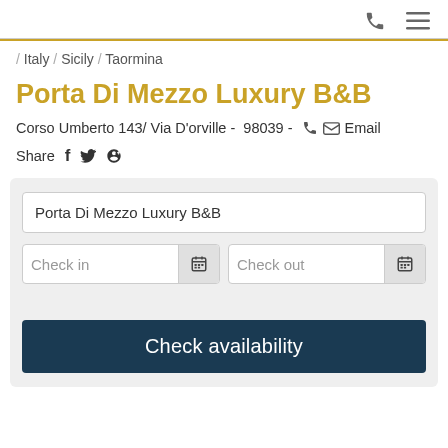Phone and menu icons
/ Italy / Sicily / Taormina
Porta Di Mezzo Luxury B&B
Corso Umberto 143/ Via D'orville -  98039 -  [phone] [envelope] Email
Share f t p
[Figure (screenshot): Booking widget with property name search field, check-in and check-out date fields with calendar icons, and a dark navy Check availability button]